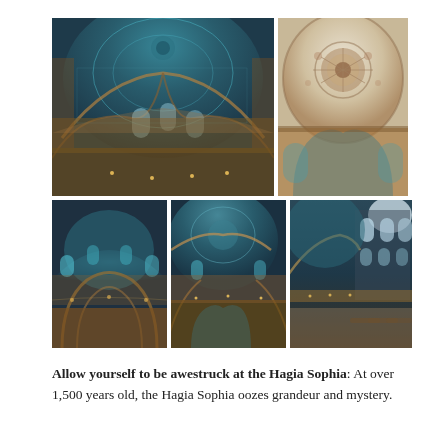[Figure (photo): A collage of five interior photographs of the Hagia Sophia (or similar Ottoman mosque), showing ornate domed ceilings with colorful Islamic geometric tile patterns, arched windows, golden lights, and vast interior spaces. Arranged in a 2-row grid: one large photo and one smaller on top row, three equal photos on bottom row.]
Allow yourself to be awestruck at the Hagia Sophia: At over 1,500 years old, the Hagia Sophia oozes grandeur and mystery.